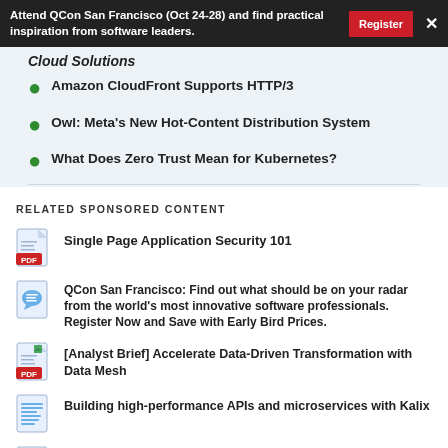Attend QCon San Francisco (Oct 24-28) and find practical inspiration from software leaders. [Register] [X]
Cloud Solutions
Amazon CloudFront Supports HTTP/3
Owl: Meta's New Hot-Content Distribution System
What Does Zero Trust Mean for Kubernetes?
RELATED SPONSORED CONTENT
Single Page Application Security 101
QCon San Francisco: Find out what should be on your radar from the world's most innovative software professionals. Register Now and Save with Early Bird Prices.
[Analyst Brief] Accelerate Data-Driven Transformation with Data Mesh
Building high-performance APIs and microservices with Kalix
DZone RefCard: Kubernetes Multi-Cluster Management and Governance